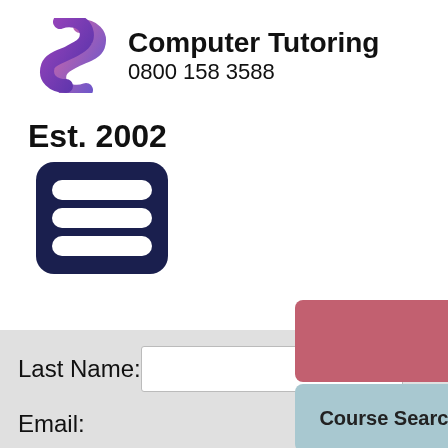[Figure (logo): Computer Tutoring logo with stylized S shape in purple/pink gradient, company name 'Computer Tutoring' and phone number '0800 158 3588']
Est. 2002
[Figure (infographic): Dark navy hamburger menu icon (three horizontal bars with rounded corners inside a rounded square)]
[Figure (other): Partially visible reddish-pink rectangular button at top right]
[Figure (other): Light blue 'Course Search' button partially visible at right]
Last Name:
Email: